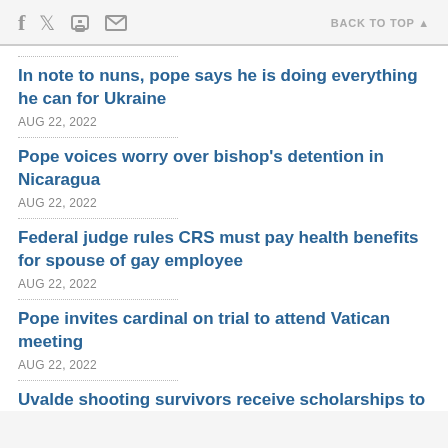f [twitter] [print] [email]   BACK TO TOP ▲
In note to nuns, pope says he is doing everything he can for Ukraine
AUG 22, 2022
Pope voices worry over bishop's detention in Nicaragua
AUG 22, 2022
Federal judge rules CRS must pay health benefits for spouse of gay employee
AUG 22, 2022
Pope invites cardinal on trial to attend Vatican meeting
AUG 22, 2022
Uvalde shooting survivors receive scholarships to